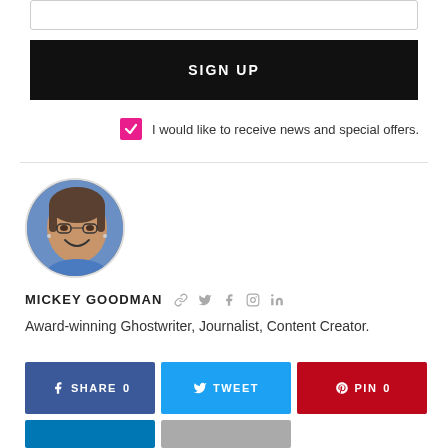SIGN UP
I would like to receive news and special offers.
[Figure (photo): Circular headshot photo of Mickey Goodman, a woman with glasses, short hair, and a blue background, smiling.]
MICKEY GOODMAN
Award-winning Ghostwriter, Journalist, Content Creator.
SHARE 0   TWEET   PIN 0